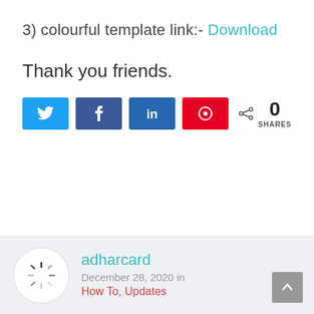3) colourful template link:- Download
Thank you friends.
[Figure (infographic): Social share buttons: Twitter (blue), Facebook (dark blue), LinkedIn (blue), Pinterest (red), and a share count showing 0 SHARES]
[Figure (infographic): Author card with avatar (loading spinner icon), author name 'adharcard', date 'December 28, 2020 in', and categories 'How To, Updates'. A scroll-to-top grey button is in the bottom right corner.]